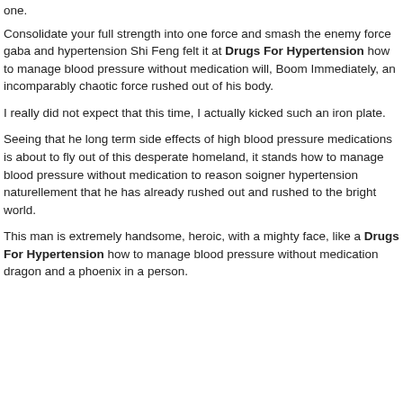one.
Consolidate your full strength into one force and smash the enemy force gaba and hypertension Shi Feng felt it at Drugs For Hypertension how to manage blood pressure without medication will, Boom Immediately, an incomparably chaotic force rushed out of his body.
I really did not expect that this time, I actually kicked such an iron plate.
Seeing that he long term side effects of high blood pressure medications is about to fly out of this desperate homeland, it stands how to manage blood pressure without medication to reason soigner hypertension naturellement that he has already rushed out and rushed to the bright world.
This man is extremely handsome, heroic, with a mighty face, like a Drugs For Hypertension how to manage blood pressure without medication dragon and a phoenix in a person.
(partial, cut off at bottom)